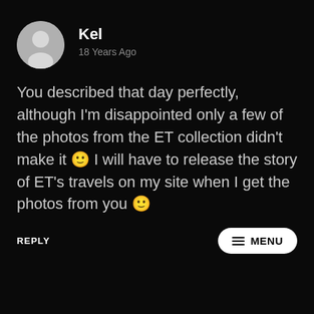[Figure (illustration): Grey circular avatar/profile placeholder icon with a generic person silhouette]
Kel
18 Years Ago
You described that day perfectly, although I'm disappointed only a few of the photos from the ET collection didn't make it 🙂 I will have to release the story of ET's travels on my site when I get the photos from you 🙂
REPLY
≡ MENU